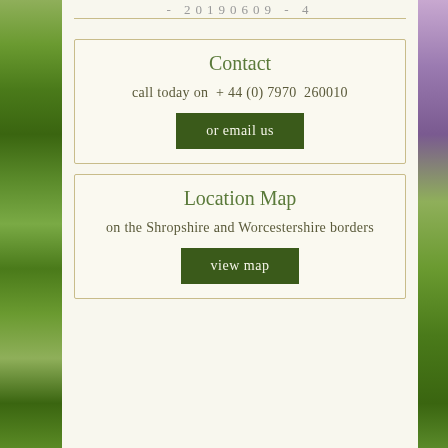- 20190609 - 4
Contact
call today on + 44 (0) 7970 260010
or email us
Location Map
on the Shropshire and Worcestershire borders
view map